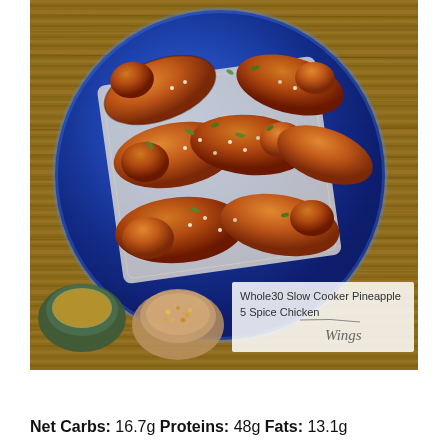[Figure (photo): Overhead photo of glazed chicken wings in a dark blue bowl lined with parchment paper, garnished with sesame seeds and chopped green herbs, on a wooden cutting board. A small green ceramic cup with sauce and a small tan bowl with spices are visible in the lower left. A text overlay in the lower right reads: Whole30 Slow Cooker Pineapple 5 Spice Chicken Wings.]
Net Carbs: 16.7g Proteins: 48g Fats: 13.1g